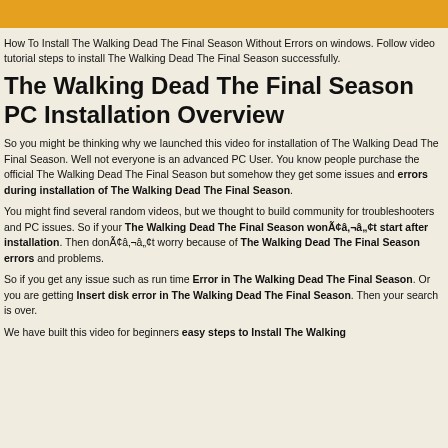How To Install The Walking Dead The Final Season Without Errors on windows. Follow video tutorial steps to install The Walking Dead The Final Season successfully.
The Walking Dead The Final Season PC Installation Overview
So you might be thinking why we launched this video for installation of The Walking Dead The Final Season. Well not everyone is an advanced PC User. You know people purchase the official The Walking Dead The Final Season but somehow they get some issues and errors during installation of The Walking Dead The Final Season.
You might find several random videos, but we thought to build community for troubleshooters and PC issues. So if your The Walking Dead The Final Season wonÃ¢â¬â¢t start after installation. Then donÃ¢â¬â¢t worry because of The Walking Dead The Final Season errors and problems.
So if you get any issue such as run time Error in The Walking Dead The Final Season. Or you are getting Insert disk error in The Walking Dead The Final Season. Then your search is over.
We have built this video for beginners easy steps to Install The Walking Dead The...